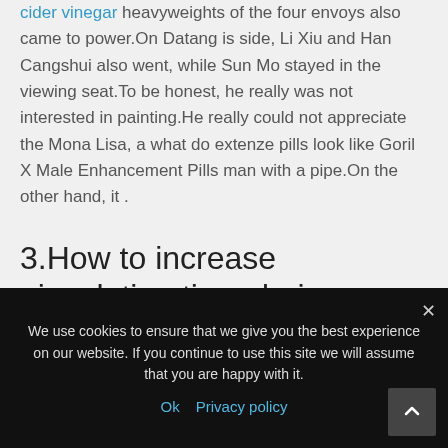cider vinegar heavyweights of the four envoys also came to power.On Datang is side, Li Xiu and Han Cangshui also went, while Sun Mo stayed in the viewing seat.To be honest, he really was not interested in painting.He really could not appreciate the Mona Lisa, a what do extenze pills look like Goril X Male Enhancement Pills man with a pipe.On the other hand, it .
3.How to increase ejaculation time during intercourse?
We use cookies to ensure that we give you the best experience on our website. If you continue to use this site we will assume that you are happy with it.